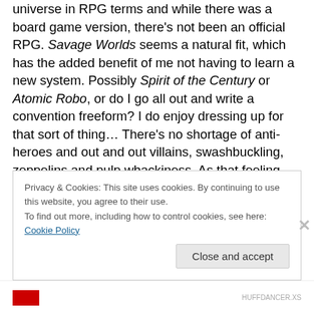universe in RPG terms and while there was a board game version, there's not been an official RPG. Savage Worlds seems a natural fit, which has the added benefit of me not having to learn a new system. Possibly Spirit of the Century or Atomic Robo, or do I go all out and write a convention freeform? I do enjoy dressing up for that sort of thing… There's no shortage of anti-heroes and out and out villains, swashbuckling, zeppelins and pulp whackiness. As that feeling started to wave over me, filled with promise and ideas I smacked myself upside the head and reminded myself that I already have a game to write, one
Privacy & Cookies: This site uses cookies. By continuing to use this website, you agree to their use.
To find out more, including how to control cookies, see here: Cookie Policy